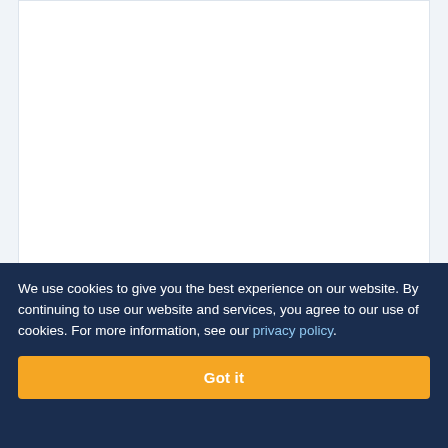[Figure (other): Chart area (top portion cut off) with legend showing BELGICA (blue-purple dot), ITALIA (orange dot), OTHERS (light blue dot)]
BELGICA
ITALIA
OTHERS
S MIBELLI SUMINISTROS C A
Latest Shipment Date
We use cookies to give you the best experience on our website. By continuing to use our website and services, you agree to our use of cookies. For more information, see our privacy policy.
Got it